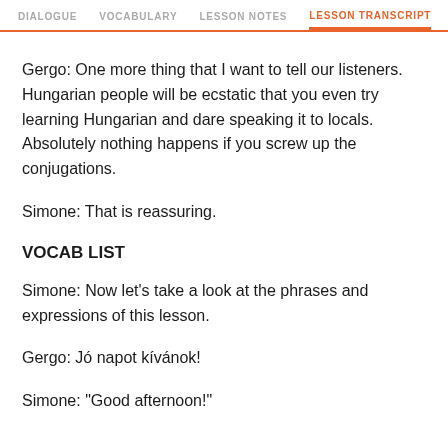DIALOGUE  VOCABULARY  LESSON NOTES  LESSON TRANSCRIPT  C
Gergo: One more thing that I want to tell our listeners. Hungarian people will be ecstatic that you even try learning Hungarian and dare speaking it to locals. Absolutely nothing happens if you screw up the conjugations.
Simone: That is reassuring.
VOCAB LIST
Simone: Now let’s take a look at the phrases and expressions of this lesson.
Gergo: Jó napot kívánok!
Simone: “Good afternoon!”